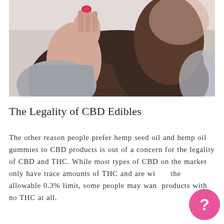[Figure (photo): Woman with dark hair holding a small red gummy candy up close to her mouth, wearing a grey sweater, blurred background]
The Legality of CBD Edibles
The other reason people prefer hemp seed oil and hemp oil gummies to CBD products is out of a concern for the legality of CBD and THC. While most types of CBD on the market only have trace amounts of THC and are within the allowable 0.3% limit, some people may want products with no THC at all.